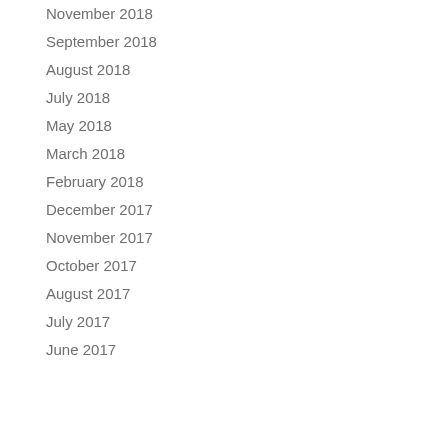November 2018
September 2018
August 2018
July 2018
May 2018
March 2018
February 2018
December 2017
November 2017
October 2017
August 2017
July 2017
June 2017